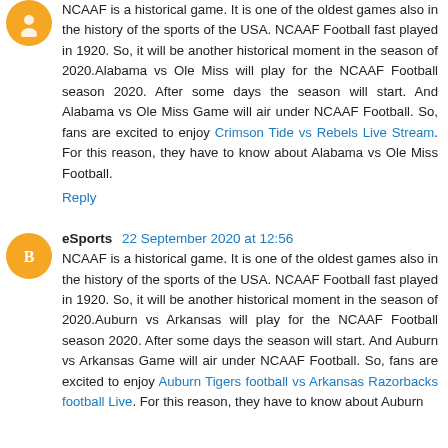NCAAF is a historical game. It is one of the oldest games also in the history of the sports of the USA. NCAAF Football fast played in 1920. So, it will be another historical moment in the season of 2020.Alabama vs Ole Miss will play for the NCAAF Football season 2020. After some days the season will start. And Alabama vs Ole Miss Game will air under NCAAF Football. So, fans are excited to enjoy Crimson Tide vs Rebels Live Stream. For this reason, they have to know about Alabama vs Ole Miss Football.
Reply
eSports 22 September 2020 at 12:56
NCAAF is a historical game. It is one of the oldest games also in the history of the sports of the USA. NCAAF Football fast played in 1920. So, it will be another historical moment in the season of 2020.Auburn vs Arkansas will play for the NCAAF Football season 2020. After some days the season will start. And Auburn vs Arkansas Game will air under NCAAF Football. So, fans are excited to enjoy Auburn Tigers football vs Arkansas Razorbacks football Live. For this reason, they have to know about Auburn...